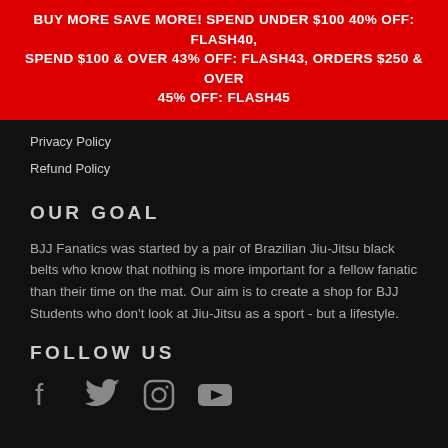BUY MORE SAVE MORE! SPEND UNDER $100 40% OFF: FLASH40, SPEND $100 & OVER 43% OFF: FLASH43, ORDERS $250 & OVER 45% OFF: FLASH45
Privacy Policy
Refund Policy
OUR GOAL
BJJ Fanatics was started by a pair of Brazilian Jiu-Jitsu black belts who know that nothing is more important for a fellow fanatic than their time on the mat. Our aim is to create a shop for BJJ Students who don't look at Jiu-Jitsu as a sport - but a lifestyle.
FOLLOW US
[Figure (other): Social media icons: Facebook, Twitter, Instagram, YouTube]